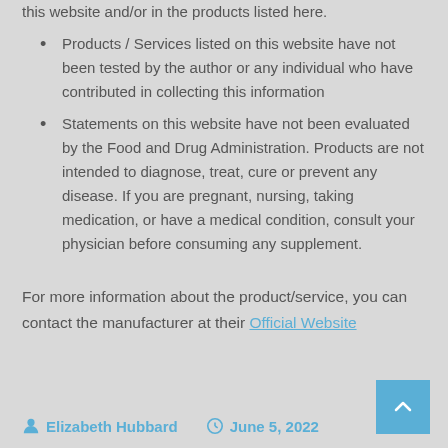this website and/or in the products listed here.
Products / Services listed on this website have not been tested by the author or any individual who have contributed in collecting this information
Statements on this website have not been evaluated by the Food and Drug Administration. Products are not intended to diagnose, treat, cure or prevent any disease. If you are pregnant, nursing, taking medication, or have a medical condition, consult your physician before consuming any supplement.
For more information about the product/service, you can contact the manufacturer at their Official Website
Elizabeth Hubbard   June 5, 2022